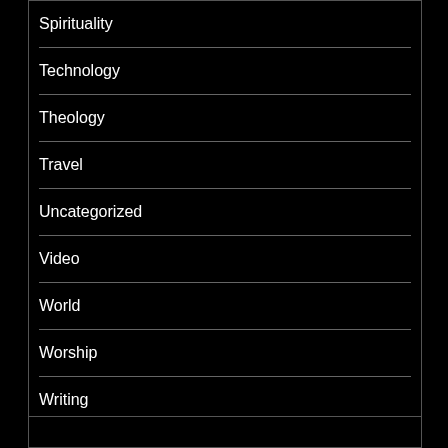Spirituality
Technology
Theology
Travel
Uncategorized
Video
World
Worship
Writing